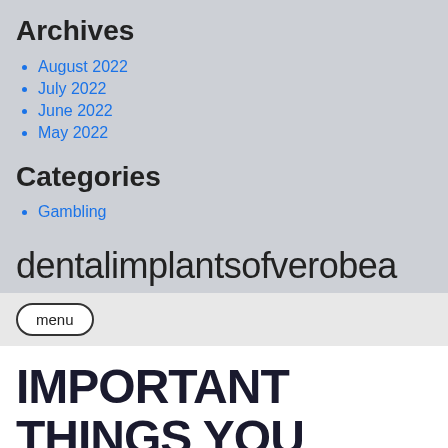Archives
August 2022
July 2022
June 2022
May 2022
Categories
Gambling
dentalimplantsofverobea
menu
IMPORTANT THINGS YOU SHOULD KNOW